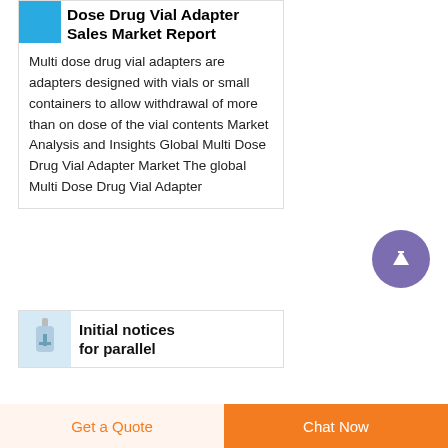Dose Drug Vial Adapter Sales Market Report
Multi dose drug vial adapters are adapters designed with vials or small containers to allow withdrawal of more than on dose of the vial contents Market Analysis and Insights Global Multi Dose Drug Vial Adapter Market The global Multi Dose Drug Vial Adapter
[Figure (photo): Small vial adapter product image thumbnail (blue background)]
Initial notices for parallel
[Figure (photo): Scroll-to-top button, purple circle with upward arrow]
Get a Quote   Chat Now